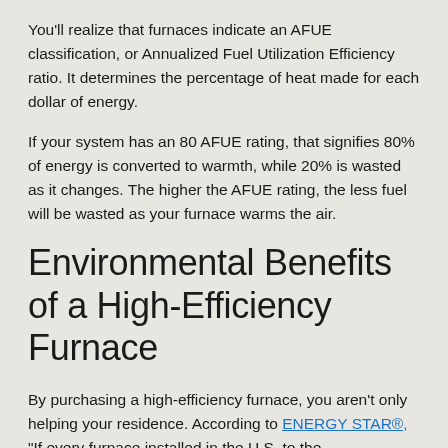You'll realize that furnaces indicate an AFUE classification, or Annualized Fuel Utilization Efficiency ratio. It determines the percentage of heat made for each dollar of energy.
If your system has an 80 AFUE rating, that signifies 80% of energy is converted to warmth, while 20% is wasted as it changes. The higher the AFUE rating, the less fuel will be wasted as your furnace warms the air.
Environmental Benefits of a High-Efficiency Furnace
By purchasing a high-efficiency furnace, you aren't only helping your residence. According to ENERGY STAR®, "If every furnace installed in the U.S. to the…"